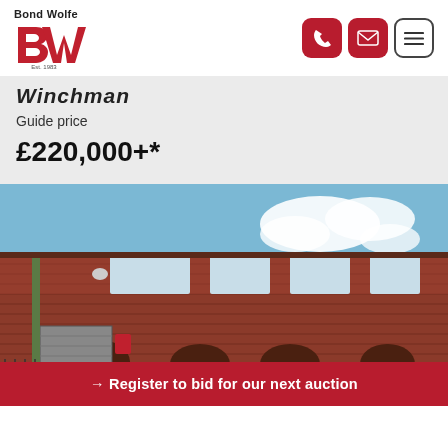[Figure (logo): Bond Wolfe logo with red BW letters and Est. 1983 text, navigation icons (phone, email, menu) in red rounded squares on the right]
Winchman
Guide price
£220,000+*
[Figure (photo): Exterior photograph of a red brick industrial/commercial building with arched window details, roller shutter door, and blue sky with clouds in the background]
→ Register to bid for our next auction